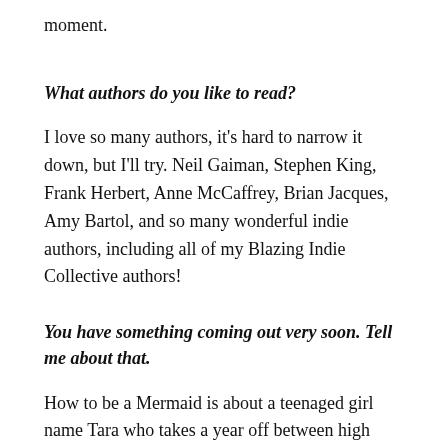moment.
What authors do you like to read?
I love so many authors, it's hard to narrow it down, but I'll try. Neil Gaiman, Stephen King, Frank Herbert, Anne McCaffrey, Brian Jacques, Amy Bartol, and so many wonderful indie authors, including all of my Blazing Indie Collective authors!
You have something coming out very soon. Tell me about that.
How to be a Mermaid is about a teenaged girl name Tara who takes a year off between high school and college to be a professional mermaid, meaning she dons a mermaid tail and does a water ballet. It's all going well until she meets a real merman and a